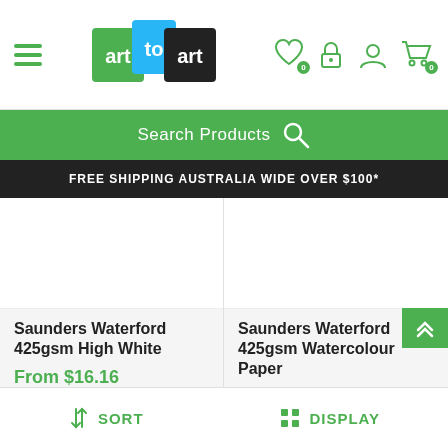[Figure (screenshot): art to art e-commerce website header with logo, hamburger menu, and navigation icons (heart/wishlist, lock, user, cart)]
Search Products
FREE SHIPPING AUSTRALIA WIDE OVER $100*
Saunders Waterford 425gsm High White
From $16.16
Saunders Waterford 425gsm Watercolour Paper
From $16.16
SORT
DISPLAY